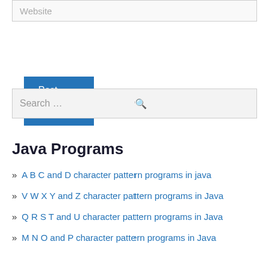Website
Post Comment »
Search …
Java Programs
A B C and D character pattern programs in java
V W X Y and Z character pattern programs in Java
Q R S T and U character pattern programs in Java
M N O and P character pattern programs in Java